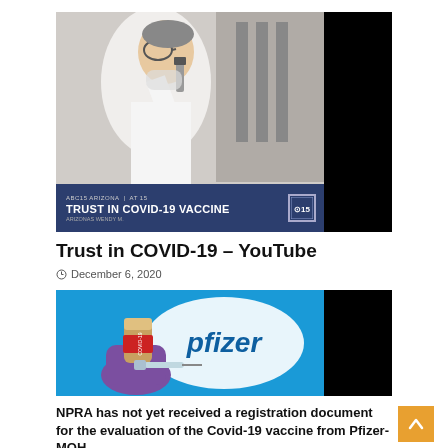[Figure (photo): News screenshot showing a scientist/researcher in a lab coat and safety glasses, with a news ticker bar at the bottom reading 'TRUST IN COVID-19 VACCINE' on a dark blue background with ABC15 logo. Right side shows a black area.]
Trust in COVID-19 – YouTube
December 6, 2020
[Figure (photo): Photo of a Pfizer logo on blue background with a hand in purple gloves holding a COVID-19 vaccine vial and syringe. Right side shows a black area.]
NPRA has not yet received a registration document for the evaluation of the Covid-19 vaccine from Pfizer-MOH